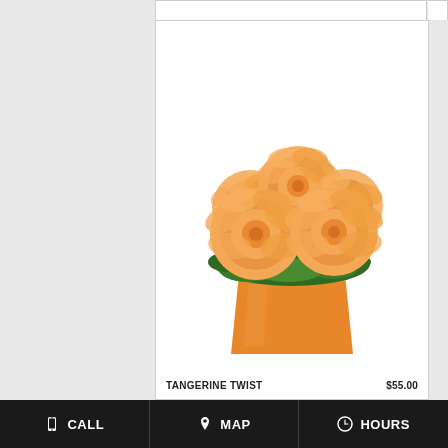[Figure (photo): Orange roses arranged in a square orange ceramic vase with green foliage, product photo for 'Tangerine Twist' floral arrangement]
TANGERINE TWIST    $55.00
CALL   MAP   HOURS